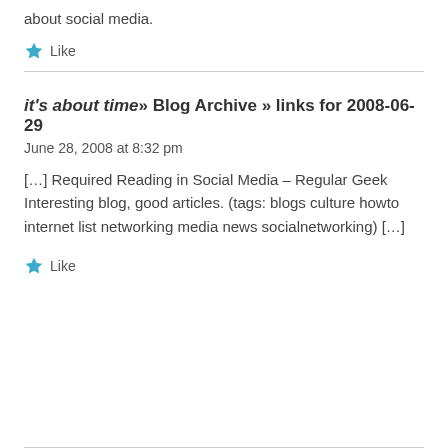about social media.
Like
it's about time» Blog Archive » links for 2008-06-29
June 28, 2008 at 8:32 pm
[…] Required Reading in Social Media – Regular Geek Interesting blog, good articles. (tags: blogs culture howto internet list networking media news socialnetworking) […]
Like